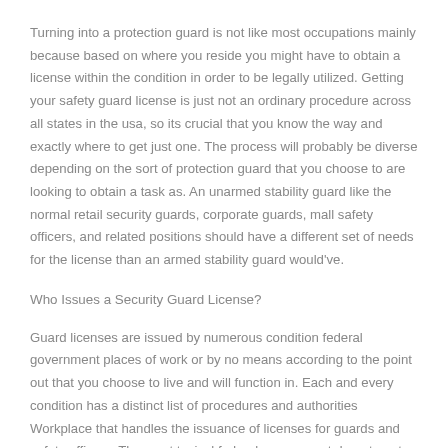Turning into a protection guard is not like most occupations mainly because based on where you reside you might have to obtain a license within the condition in order to be legally utilized. Getting your safety guard license is just not an ordinary procedure across all states in the usa, so its crucial that you know the way and exactly where to get just one. The process will probably be diverse depending on the sort of protection guard that you choose to are looking to obtain a task as. An unarmed stability guard like the normal retail security guards, corporate guards, mall safety officers, and related positions should have a different set of needs for the license than an armed stability guard would've.
Who Issues a Security Guard License?
Guard licenses are issued by numerous condition federal government places of work or by no means according to the point out that you choose to live and will function in. Each and every condition has a distinct list of procedures and authorities Workplace that handles the issuance of licenses for guards and safety officers. The most typical federal government departments that may cope with the requests for licenses are